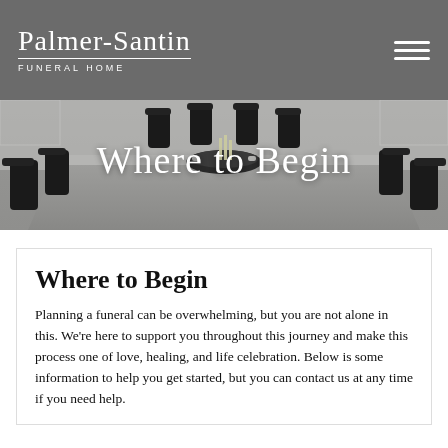Palmer-Santin Funeral Home
[Figure (photo): Interior photo of a conference/meeting room with a long grey table and black chairs, viewed from the end, with a decorative tray centerpiece and white paneled walls in the background.]
Where to Begin
Where to Begin
Planning a funeral can be overwhelming, but you are not alone in this. We're here to support you throughout this journey and make this process one of love, healing, and life celebration. Below is some information to help you get started, but you can contact us at any time if you need help.